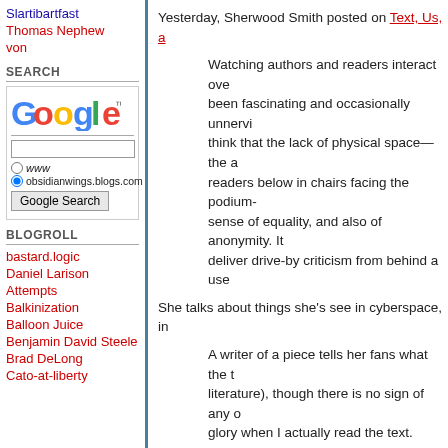Slartibartfast
Thomas Nephew
von
SEARCH
[Figure (screenshot): Google search widget with logo, text input, www radio button, obsidianwings.blogs.com radio button (selected), and Google Search button]
BLOGROLL
bastard.logic
Daniel Larison
Attempts
Balkinization
Balloon Juice
Benjamin David Steele
Brad DeLong
Cato-at-liberty
Yesterday, Sherwood Smith posted on Text, Us, a...
Watching authors and readers interact over... been fascinating and occasionally unnerving... think that the lack of physical space—the a... readers below in chairs facing the podium-... sense of equality, and also of anonymity. It... deliver drive-by criticism from behind a use...
She talks about things she's see in cyberspace, in...
A writer of a piece tells her fans what the t... literature), though there is no sign of any o... glory when I actually read the text. Should... meaning over the piece in a mental palim... explanations? Is that what those adoring r... they really see something there that I do n... down meaning, when readers are going to... experience to a text, however they came b...
I don't recognize the incident Smith is talking abo... fandom indicates that when readers love a text, w... text in isolation -- not least because there is no su...
When authors make contact, that thinking with...